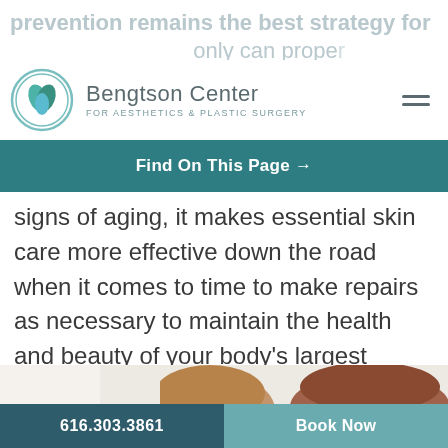prevention remains the best strategy for aging skin, and only can proper sun protection, hydration, and more delay
[Figure (logo): Bengtson Center for Aesthetics & Plastic Surgery logo with circular teal leaf icon]
Find On This Page →
signs of aging, it makes essential skin care more effective down the road when it comes to time to make repairs as necessary to maintain the health and beauty of your body's largest organ!
[Figure (photo): Two people from behind showing their hair, set against a light background]
616.303.3861
Book Now